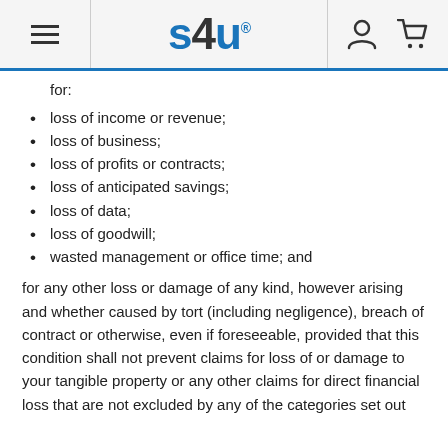s4u® [logo with hamburger menu, person icon, cart icon]
for:
loss of income or revenue;
loss of business;
loss of profits or contracts;
loss of anticipated savings;
loss of data;
loss of goodwill;
wasted management or office time; and
for any other loss or damage of any kind, however arising and whether caused by tort (including negligence), breach of contract or otherwise, even if foreseeable, provided that this condition shall not prevent claims for loss of or damage to your tangible property or any other claims for direct financial loss that are not excluded by any of the categories set out